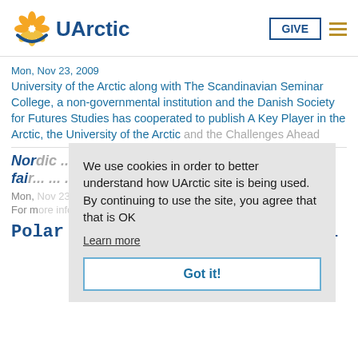UArctic | GIVE
Mon, Nov 23, 2009
University of the Arctic along with The Scandinavian Seminar College, a non-governmental institution and the Danish Society for Futures Studies has cooperated to publish A Key Player in the Arctic, the University of the Arctic and the Challenges Ahead
Nordic ... fair...
Mon, Nov 23, 2009
For m[ore information con...]
Polar Climate and Environmental
We use cookies in order to better understand how UArctic site is being used. By continuing to use the site, you agree that that is OK
Learn more
Got it!